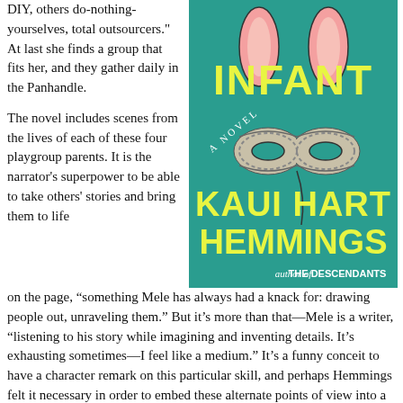DIY, others do-nothing-yourselves, total outsourcers." At last she finds a group that fits her, and they gather daily in the Panhandle.
The novel includes scenes from the lives of each of these four playgroup parents. It is the narrator's superpower to be able to take others' stories and bring them to life on the page, “something Mele has always had a knack for: drawing people out, unraveling them.” But it’s more than that—Mele is a writer, “listening to his story while imagining and inventing details. It’s exhausting sometimes—I feel like a medium.” It’s a funny conceit to have a character remark on this particular skill, and perhaps Hemmings felt it necessary in order to embed these alternate points of view into a first person narrative. Some of my favorite books use this elasticity of perspective without assigning the narrator a
[Figure (illustration): Book cover of 'Infant: A Novel' by Kaui Hart Hemmings, author of The Descendants. Teal/turquoise background with yellow bold text for title and author name. Illustration of pink bunny ears and a masquerade mask made of rope/braided material in the center.]